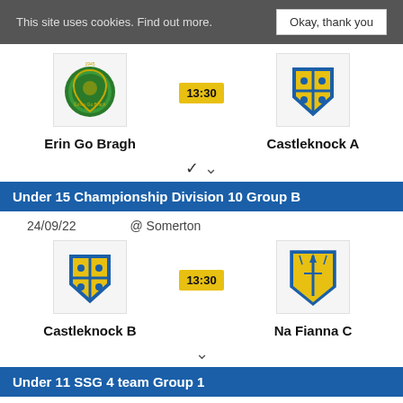This site uses cookies. Find out more.   Okay, thank you
[Figure (logo): Erin Go Bragh GAA club crest - green shield with hurling imagery]
[Figure (logo): Castleknock GAA club crest - blue and yellow shield with hurling imagery]
Erin Go Bragh   13:30   Castleknock A
v
Under 15 Championship Division 10 Group B
24/09/22   @ Somerton
[Figure (logo): Castleknock GAA club crest - blue and yellow shield]
[Figure (logo): Na Fianna GAA club crest - blue and yellow shield with sword]
Castleknock B   13:30   Na Fianna C
v
Under 11 SSG 4 team Group 1
24/09/22   @ Tymon North